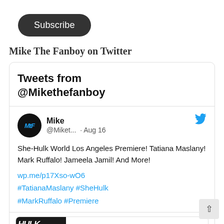[Figure (other): Dark rounded Subscribe button]
Mike The Fanboy on Twitter
[Figure (screenshot): Twitter widget showing tweets from @Mikethefanboy. A tweet by Mike (@Miket...) from Aug 16 reads: She-Hulk World Los Angeles Premiere! Tatiana Maslany! Mark Ruffalo! Jameela Jamil! And More! wp.me/p17Xso-wO6 #TatianaMaslany #SheHulk #MarkRuffalo #Premiere. A link preview shows an image with HULK text and mikethefanboy.... / She-Hulk World as preview text.]